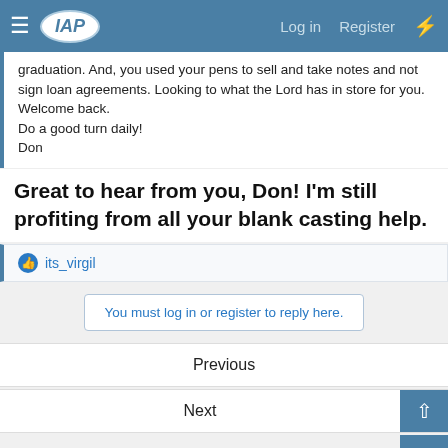IAP - Log in - Register
graduation. And, you used your pens to sell and take notes and not sign loan agreements. Looking to what the Lord has in store for you. Welcome back.
Do a good turn daily!
Don
Great to hear from you, Don! I'm still profiting from all your blank casting help.
its_virgil
You must log in or register to reply here.
Previous
Next
Share:
Casual Conversation